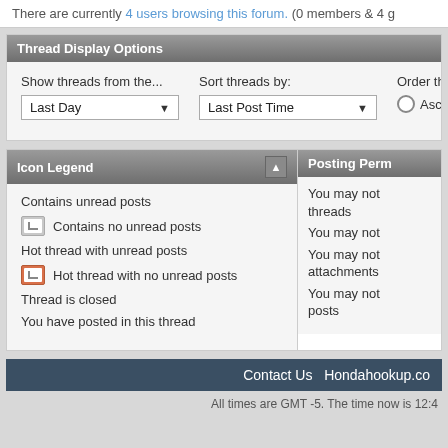There are currently 4 users browsing this forum. (0 members & 4 g
Thread Display Options
Show threads from the... Last Day | Sort threads by: Last Post Time | Order threads Ascending
Icon Legend
Contains unread posts
Contains no unread posts
Hot thread with unread posts
Hot thread with no unread posts
Thread is closed
You have posted in this thread
Posting Perm
You may not threads
You may not
You may not attachments
You may not posts
Contact Us  Hondahookup.co
All times are GMT -5. The time now is 12:4